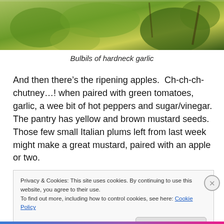[Figure (photo): Partial view of a garden scene with green foliage and plants, cropped at top of page.]
Bulbils of hardneck garlic
And then there’s the ripening apples.  Ch-ch-ch-chutney…! when paired with green tomatoes, garlic, a wee bit of hot peppers and sugar/vinegar.  The pantry has yellow and brown mustard seeds.  Those few small Italian plums left from last week might make a great mustard, paired with an apple or two.
Privacy & Cookies: This site uses cookies. By continuing to use this website, you agree to their use.
To find out more, including how to control cookies, see here: Cookie Policy